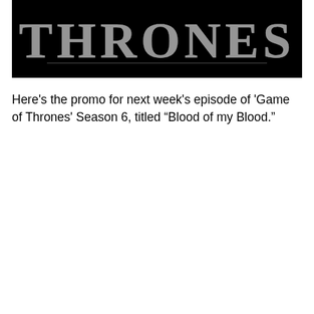[Figure (photo): Game of Thrones logo/title card showing the word THRONES in metallic stylized lettering on a black background]
Here's the promo for next week's episode of 'Game of Thrones' Season 6, titled “Blood of my Blood.”